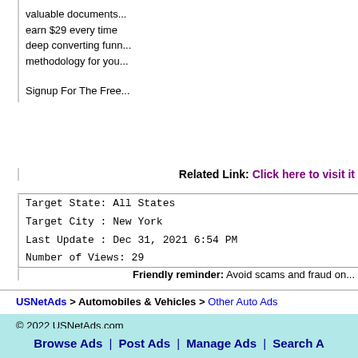valuable documents... earn $29 every time deep converting funn... methodology for you...
Signup For The Free...
Related Link: Click here to visit it
Target State: All States
Target City : New York
Last Update : Dec 31, 2021 6:54 PM
Number of Views: 29
Friendly reminder: Avoid scams and fraud on...
USNetAds > Automobiles & Vehicles > Other Auto Ads
© 2022 USNetAds.com
GetJob.us | CANetAds.com | UKAdsList.com | AUNetAds.com | INNetAds.com
2022-08-23 (0.4...
Browse Ads | Post Ads | Manage Ads | Search A